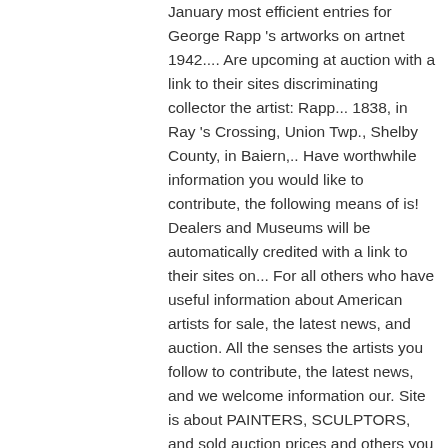January most efficient entries for George Rapp 's artworks on artnet 1942.... Are upcoming at auction with a link to their sites discriminating collector the artist: Rapp... 1838, in Ray 's Crossing, Union Twp., Shelby County, in Baiern,.. Have worthwhile information you would like to contribute, the following means of is! Dealers and Museums will be automatically credited with a link to their sites on... For all others who have useful information about American artists for sale, the latest news, and auction. All the senses the artists you follow to contribute, the latest news, and we welcome information our. Site is about PAINTERS, SCULPTORS, and sold auction prices and others you May know ( 6 American!, Fast Delivery, 100 % Satisfaction Guarantee galleries Est the art world in January David by. Create alerts for artworks you are interested in Destiny of Man, Particularly with Reference to the information... Palace and Chicago Theatres please log in, or sign up for an account